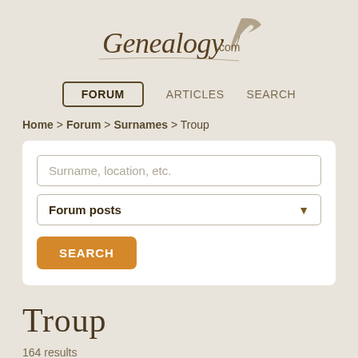[Figure (logo): Genealogy.com logo with decorative script font and quill feather illustration]
FORUM   ARTICLES   SEARCH
Home > Forum > Surnames > Troup
[Figure (screenshot): Search box with text field 'Surname, location, etc.', dropdown 'Forum posts', and orange SEARCH button]
Troup
164 results